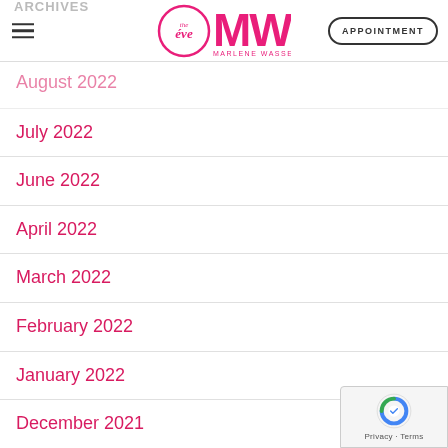eve MW MARLENE WASSERMAN DHS — APPOINTMENT
August 2022
July 2022
June 2022
April 2022
March 2022
February 2022
January 2022
December 2021
November 2021
October 2021
September 2021